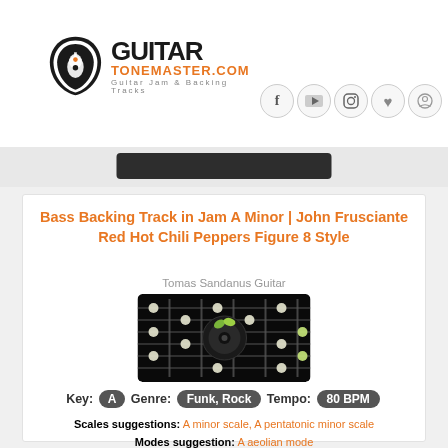[Figure (logo): GuitarToneMaster.com logo with guitar pick icon and text]
[Figure (other): Social media icons row: Facebook, YouTube, Instagram, Heart, Circle]
[Figure (other): Dark banner strip with dark rounded button]
Bass Backing Track in Jam A Minor | John Frusciante Red Hot Chili Peppers Figure 8 Style
Tomas Sandanus Guitar
[Figure (photo): Guitar fretboard thumbnail image with music note icon overlay]
Key: A  Genre: Funk, Rock  Tempo: 80 BPM
Scales suggestions: A minor scale, A pentatonic minor scale  Modes suggestion: A aeolian mode